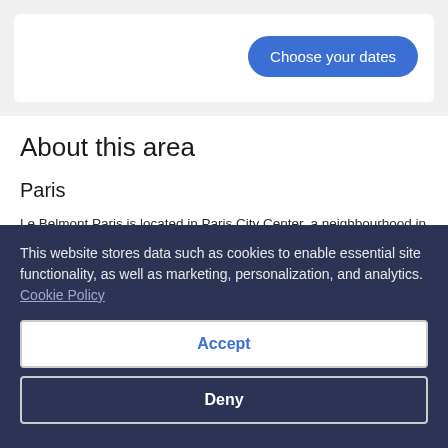[Figure (screenshot): Partial UI card with a 'Choose your dates' button on the right side]
About this area
Paris
Le Belmont Paris is located in Paris City Center, a neighbourhood in Paris, and is in a shopping district and near a metro station. Louvre Museum and Palais Garnier are cultural highlights, and some of the area's notable landmarks include Arc de Triomphe and Notre-Dame.
This website stores data such as cookies to enable essential site functionality, as well as marketing, personalization, and analytics. Cookie Policy
Accept
Deny